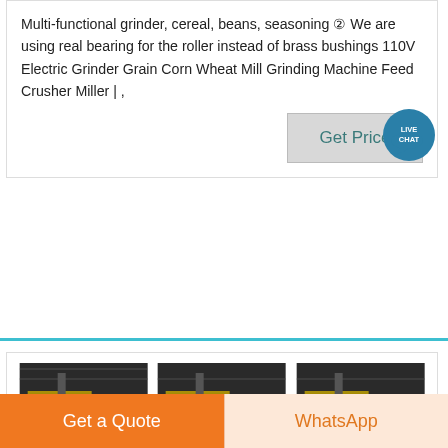Multi-functional grinder, cereal, beans, seasoning ② We are using real bearing for the roller instead of brass bushings 110V Electric Grinder Grain Corn Wheat Mill Grinding Machine Feed Crusher Miller | ,
[Figure (other): Live Chat badge - circular teal badge with speech bubble icon and text LIVE CHAT]
Get Price
[Figure (photo): Three industrial grain mill machine images side by side showing large industrial milling equipment with yellow railings in a factory setting]
Amazon: Food Grinders & Mills: Home & Kitchen: Spice ,
Electric Grain Mill Barley Grinder Malt Crusher Roller Grain Mill Grain Grinder Home Brew Mill Food Grade
Get a Quote
WhatsApp